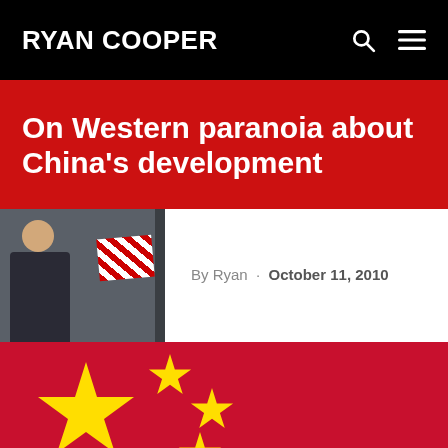RYAN COOPER
On Western paranoia about China's development
By Ryan · October 11, 2010
[Figure (photo): Thumbnail photo of a person near a gate with a 'No Hosting' sign, partial view]
[Figure (photo): Chinese national flag with large yellow star and four smaller stars on red background, cropped at the bottom of the page]